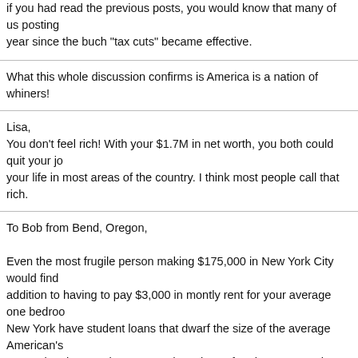if you had read the previous posts, you would know that many of us posting year since the buch "tax cuts" became effective.
What this whole discussion confirms is America is a nation of whiners!
Lisa,
You don't feel rich! With your $1.7M in net worth, you both could quit your jo your life in most areas of the country. I think most people call that rich.
To Bob from Bend, Oregon,

Even the most frugile person making $175,000 in New York City would find addition to having to pay $3,000 in montly rent for your average one bedro New York have student loans that dwarf the size of the average American's your salary isn't gettig you a modest piece of real estate over here. You can it is to live here unless you live here. $175,000 will always seems like a lot m don't live in NYC. It's a nice salary and I'm grateful, but having to pay back 4 someone who has zero networth, $100,000 + in student loans, and can only

As for the money we're apparently saving by not paying a social security tax any greater retirement benefits than those who make $90,000 a year.